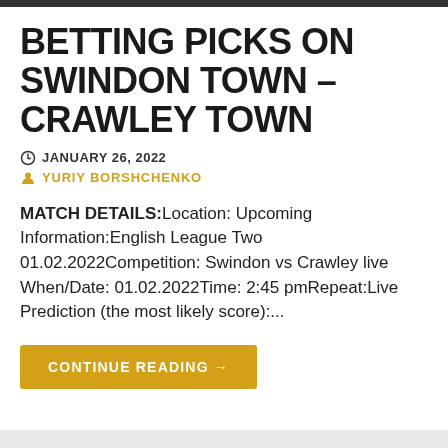BETTING PICKS ON SWINDON TOWN – CRAWLEY TOWN
JANUARY 26, 2022
YURIY BORSHCHENKO
MATCH DETAILS:Location: Upcoming Information:English League Two 01.02.2022Competition: Swindon vs Crawley live When/Date: 01.02.2022Time: 2:45 pmRepeat:Live Prediction (the most likely score):...
CONTINUE READING →